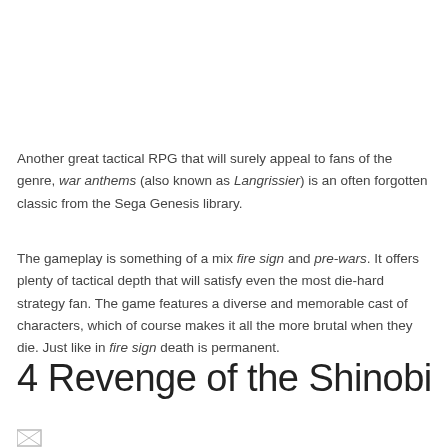Another great tactical RPG that will surely appeal to fans of the genre, war anthems (also known as Langrissier) is an often forgotten classic from the Sega Genesis library.
The gameplay is something of a mix fire sign and pre-wars. It offers plenty of tactical depth that will satisfy even the most die-hard strategy fan. The game features a diverse and memorable cast of characters, which of course makes it all the more brutal when they die. Just like in fire sign death is permanent.
4 Revenge of the Shinobi
[Figure (other): Small icon or image partially visible at the bottom of the page]